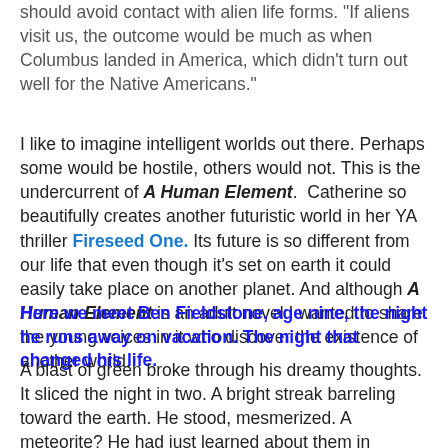should avoid contact with alien life forms. "If aliens visit us, the outcome would be much as when Columbus landed in America, which didn't turn out well for the Native Americans."
I like to imagine intelligent worlds out there. Perhaps some would be hostile, others would not. This is the undercurrent of A Human Element. Catherine so beautifully creates another futuristic world in her YA thriller Fireseed One. Its future is so different from our life that even though it's set on earth it could easily take place on another planet. And although A Human Element is an adult novel I wanted to share the young voices in it who discover the existence of another world.
Here we meet Ben Fieldstone, age nine, the night he runs away on vacation. The night that changed his life.
A blast of green broke through his dreamy thoughts. It sliced the night in two. A bright streak barreling toward the earth. He stood, mesmerized. A meteorite? He had just learned about them in school. It grew larger and larger. A fiery ball. In his excitement, he forgot he had run away. He couldn't wait